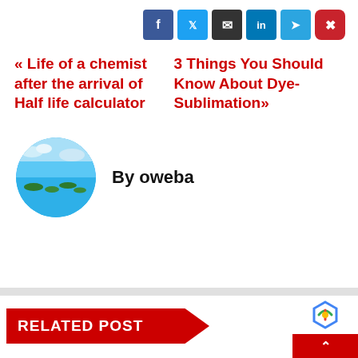[Figure (infographic): Social media share buttons: Facebook (blue), Twitter (light blue), Email (dark), LinkedIn (blue), Telegram (light blue), Pinterest (red)]
« Life of a chemist after the arrival of Half life calculator
3 Things You Should Know About Dye-Sublimation»
[Figure (photo): Circular avatar photo showing a blue ocean/sea landscape with small islands]
By oweba
RELATED POST
[Figure (logo): reCAPTCHA badge with blue recycling-style icon and red scroll-to-top button]